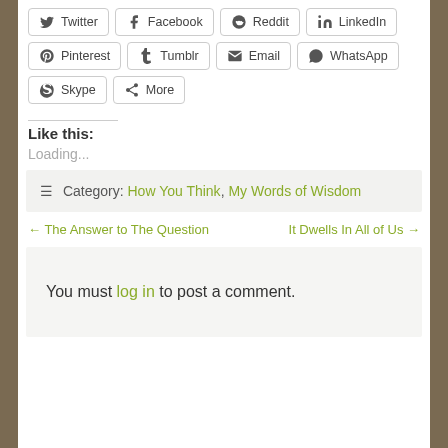[Figure (other): Social share buttons row 1: Twitter, Facebook, Reddit, LinkedIn]
[Figure (other): Social share buttons row 2: Pinterest, Tumblr, Email, WhatsApp]
[Figure (other): Social share buttons row 3: Skype, More]
Like this:
Loading...
Category: How You Think, My Words of Wisdom
← The Answer to The Question
It Dwells In All of Us →
You must log in to post a comment.